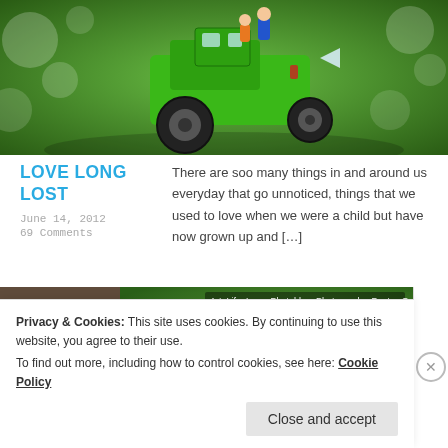[Figure (photo): Toy green tractor/car with figurines on green bokeh background]
LOVE LONG LOST
June 14, 2012
69 Comments
There are soo many things in and around us everyday that go unnoticed, things that we used to love when we were a child but have now grown up and […]
[Figure (photo): Person typing on a typewriter on grass, tags: Art, Life, Love, Photoblog, Photography, Poetry, Quotes]
Privacy & Cookies: This site uses cookies. By continuing to use this website, you agree to their use.
To find out more, including how to control cookies, see here: Cookie Policy
Close and accept